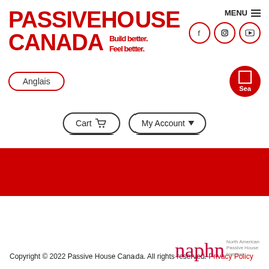[Figure (logo): Passive House Canada logo with red bold text 'PASSIVEHOUSE CANADA' and red tagline 'Build better. Feel better.']
[Figure (infographic): Navigation header with MENU, social icons (Facebook, Instagram, YouTube), Anglais button, Search button, Cart button, My Account dropdown]
[Figure (other): Red horizontal navigation bar]
Copyright © 2022 Passive House Canada. All rights reserved. Privacy Policy
[Figure (logo): NAPHN - North American Passive House Network logo in red with subtitle text]